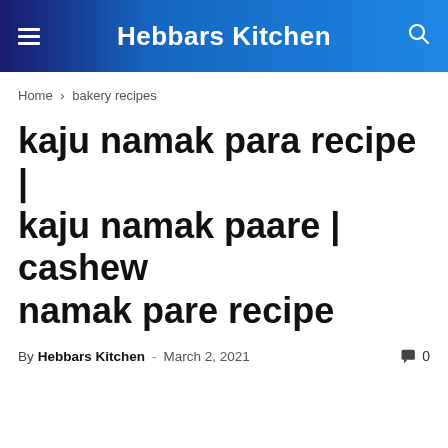Hebbars Kitchen
Home › bakery recipes
kaju namak para recipe | kaju namak paare | cashew namak pare recipe
By Hebbars Kitchen - March 2, 2021  0